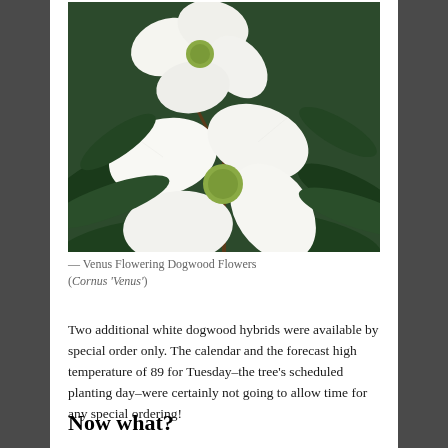[Figure (photo): Close-up photograph of white Venus Flowering Dogwood flowers (Cornus 'Venus') against a dark green leafy background]
— Venus Flowering Dogwood Flowers (Cornus 'Venus')
Two additional white dogwood hybrids were available by special order only. The calendar and the forecast high temperature of 89 for Tuesday–the tree's scheduled planting day–were certainly not going to allow time for any special ordering!
Now what?